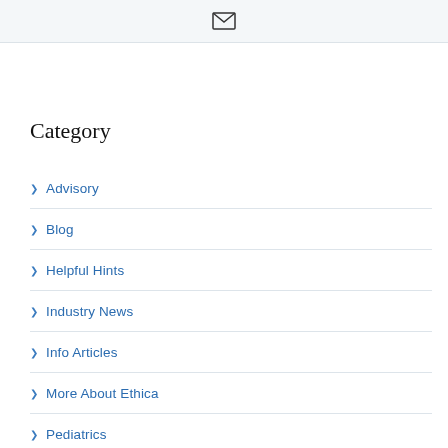[Figure (other): Email envelope icon in a light gray header bar]
Category
Advisory
Blog
Helpful Hints
Industry News
Info Articles
More About Ethica
Pediatrics